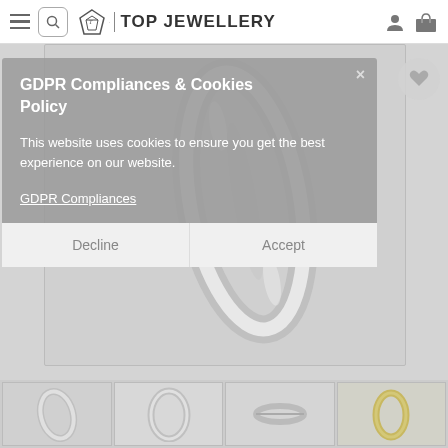TOP JEWELLERY - navigation header with hamburger menu, search, logo, account icon, and bag icon
[Figure (screenshot): GDPR cookie consent overlay on a jewellery e-commerce website. Overlay shows title 'GDPR Compliances & Cookies Policy', body text 'This website uses cookies to ensure you get the best experience on our website.', a 'GDPR Compliances' link, and two buttons: 'Decline' and 'Accept'. A diamond ring product image is visible behind the overlay. A wishlist heart icon in a circle is visible top right.]
GDPR Compliances & Cookies Policy
This website uses cookies to ensure you get the best experience on our website.
GDPR Compliances
Decline
Accept